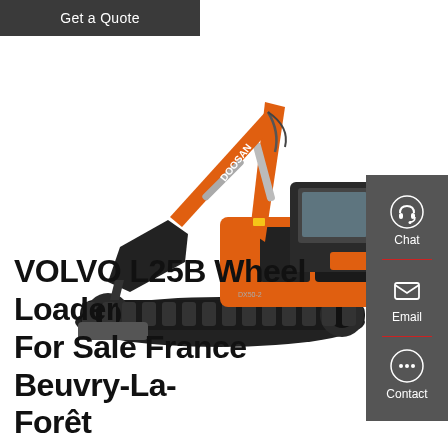Get a Quote
[Figure (photo): Orange Doosan mini excavator / compact excavator on white background, with arm extended and bucket lowered, rubber tracks visible.]
VOLVO L25B Wheel Loader For Sale France Beuvry-La-Forêt